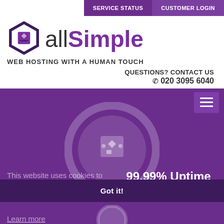SERVICE STATUS | CUSTOMER LOGIN
[Figure (logo): allSimple hexagon logo with stylized box icon in purple and dark colors]
allSimple
WEB HOSTING WITH A HUMAN TOUCH
QUESTIONS? CONTACT US
☎ 020 3095 6040
[Figure (other): Purple navigation bar with hamburger menu button (three horizontal lines) on right side]
[Figure (other): Partial circular clock/timer graphic in light purple/grey tones on dark purple background]
This website uses cookies to ensure you get the best experience on our website.
Learn more
99.99% Uptime
Guarantee
Got it!